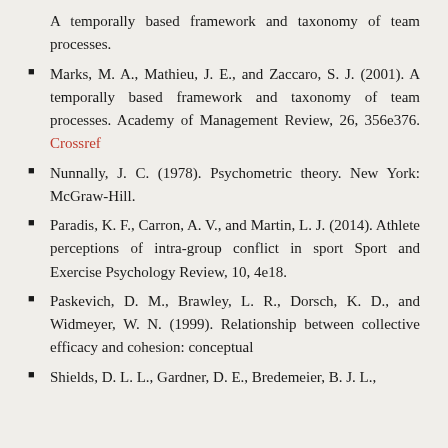A temporally based framework and taxonomy of team processes.
Marks, M. A., Mathieu, J. E., and Zaccaro, S. J. (2001). A temporally based framework and taxonomy of team processes. Academy of Management Review, 26, 356e376. Crossref
Nunnally, J. C. (1978). Psychometric theory. New York: McGraw-Hill.
Paradis, K. F., Carron, A. V., and Martin, L. J. (2014). Athlete perceptions of intra-group conflict in sport Sport and Exercise Psychology Review, 10, 4e18.
Paskevich, D. M., Brawley, L. R., Dorsch, K. D., and Widmeyer, W. N. (1999). Relationship between collective efficacy and cohesion: conceptual
Shields, D. L. L., Gardner, D. E., Bredemeier, B. J. L.,